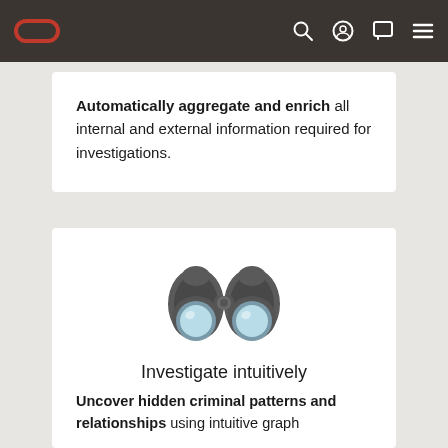Oracle logo navigation bar with search, profile, chat, and menu icons
Automatically aggregate and enrich all internal and external information required for investigations.
[Figure (illustration): Binoculars icon illustration in gray and light blue]
Investigate intuitively
Uncover hidden criminal patterns and relationships using intuitive graph visualizations to uncover activity.